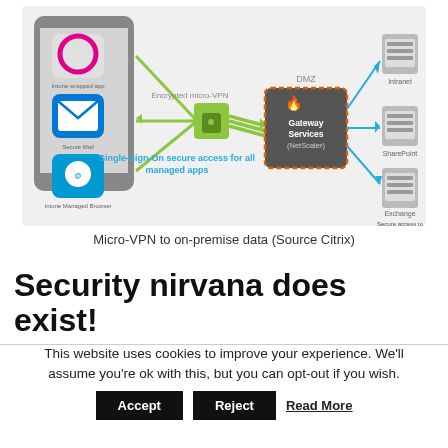[Figure (infographic): Network diagram showing Micro-VPN connection: smartphone with Intune-wrapped apps (Secure Mail, Intune Managed Browser) connecting via Encrypted micro-VPN through Gateway Services (NetScaler) in DMZ to corporate resources (Intranet, SharePoint, Exchange). Text reads 'Single-Sign-On secure access for all managed apps' and 'Secure access to corporate resources'.]
Micro-VPN to on-premise data (Source Citrix)
Security nirvana does exist!
This website uses cookies to improve your experience. We'll assume you're ok with this, but you can opt-out if you wish.